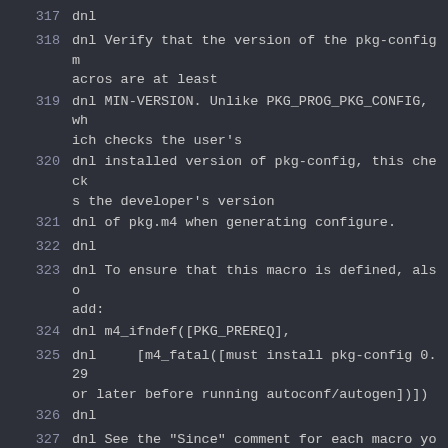317  dnl
318  dnl Verify that the version of the pkg-config macros are at least
319  dnl MIN-VERSION. Unlike PKG_PROG_PKG_CONFIG, which checks the user's
320  dnl installed version of pkg-config, this checks the developer's version
321  dnl of pkg.m4 when generating configure.
322  dnl
323  dnl To ensure that this macro is defined, also add:
324  dnl m4_ifndef([PKG_PREREQ],
325  dnl     [m4_fatal([must install pkg-config 0.29 or later before running autoconf/autogen])]
326  dnl
327  dnl See the "Since" comment for each macro you use to see what version
328  dnl of the macros you require.
329  m4_defun([PKG_PREREQ],
330  [m4_define([PKG_MACROS_VERSION], [0.29.1])
331  m4_if(m4_version_compare(PKG_MACROS_VERSION, [$1]), -1,
332      [m4_fatal([pkg.m4 version $1 or higher is r...